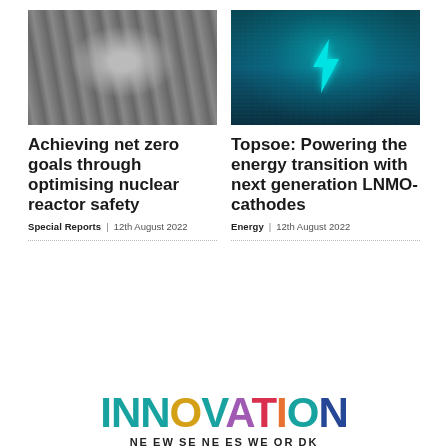[Figure (photo): Aerial/overhead view of a nuclear reactor interior, showing metallic machinery and complex equipment in grayscale tones]
[Figure (photo): Digital concept image of an energy storage battery with teal glowing lightning bolt symbol on dark blue digital background]
Achieving net zero goals through optimising nuclear reactor safety
Special Reports | 12th August 2022
Topsoe: Powering the energy transition with next generation LNMO-cathodes
Energy | 12th August 2022
[Figure (logo): INNOVATION magazine logo with multicolored letters (teal, gold, purple, red, orange, blue) and subtitle text below]